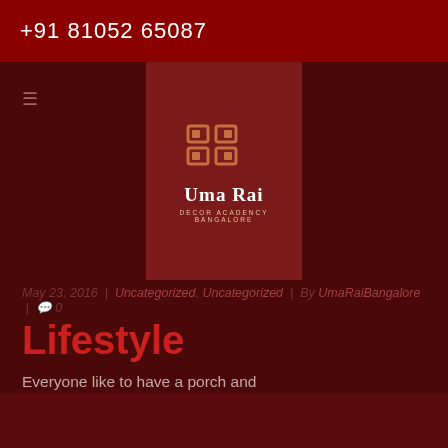+91 81052 65087
[Figure (logo): Uma Rai logo with decorative icon, text 'Uma Rai' and subtitle 'DECOR ACADENCY BANGALORE']
May 23, 2016 | Uncategorized, Uncategorized | By UmaRaiBangalore | 0
Lifestyle
Everyone like to have a porch and